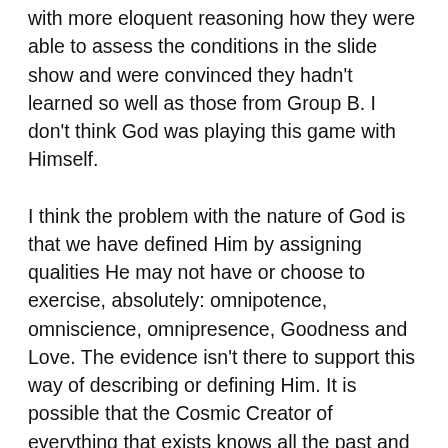with more eloquent reasoning how they were able to assess the conditions in the slide show and were convinced they hadn't learned so well as those from Group B. I don't think God was playing this game with Himself.
I think the problem with the nature of God is that we have defined Him by assigning qualities He may not have or choose to exercise, absolutely: omnipotence, omniscience, omnipresence, Goodness and Love. The evidence isn't there to support this way of describing or defining Him. It is possible that the Cosmic Creator of everything that exists knows all the past and present, but chooses to allow us to improvise rather than follow paths He already knows in advance. God can choose to do